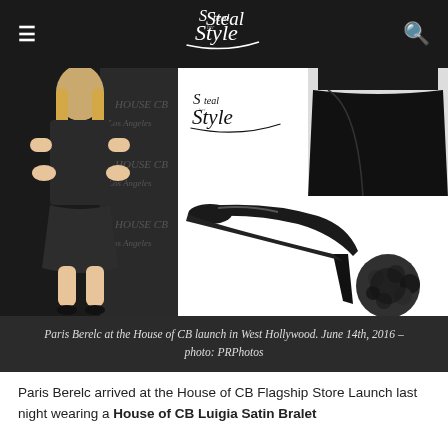Steal Her Style
[Figure (photo): Paris Berelc wearing a dark mini outfit at the House of CB launch in West Hollywood, alongside product shots of black high heels with fur pom-pom and a black satin mini skirt, with Steal Her Style logo watermark.]
Paris Berelc at the House of CB launch in West Hollywood. June 14th, 2016 – photo: PRPhotos
Paris Berelc arrived at the House of CB Flagship Store Launch last night wearing a House of CB Luigia Satin Bralet